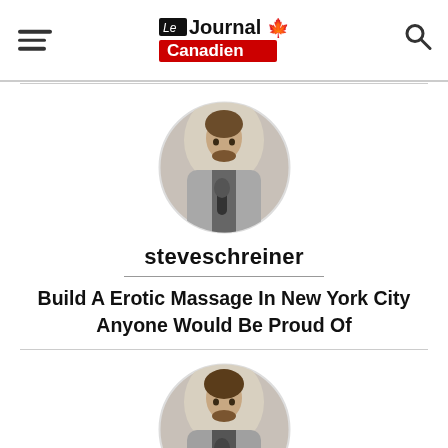Le Journal Canadien
[Figure (photo): Circular profile photo of a man holding a microphone, wearing a trench coat]
steveschreiner
Build A Erotic Massage In New York City Anyone Would Be Proud Of
[Figure (photo): Circular profile photo partially visible at bottom, same man holding a microphone]